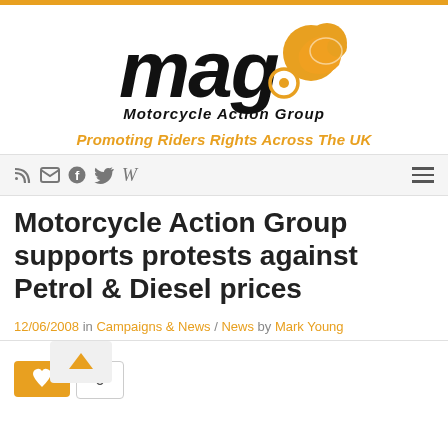[Figure (logo): MAG (Motorcycle Action Group) logo with orange helmet graphic and italic bold text 'Motorcycle Action Group']
Promoting Riders Rights Across The UK
Navigation bar with RSS, email, Facebook, Twitter, Wikipedia icons and hamburger menu
Motorcycle Action Group supports protests against Petrol & Diesel prices
12/06/2008 in Campaigns & News / News by Mark Young